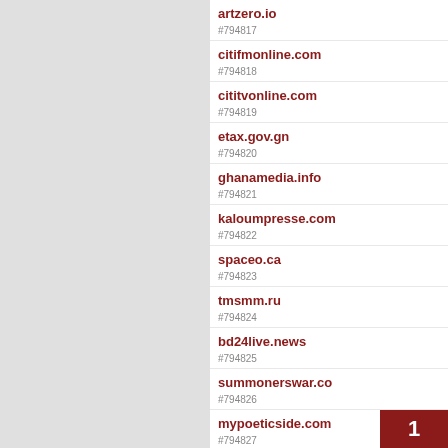#794817 artzero.io
#794818 citifmonline.com
#794819 cititvonline.com
#794820 etax.gov.gn
#794821 ghanamedia.info
#794822 kaloumpresse.com
#794823 spaceo.ca
#794824 tmsmm.ru
#794825 bd24live.news
#794826 summonerswar.co
#794827 mypoeticside.com
#794828 supermarktcheck.de
#794829 goodbox.com
1